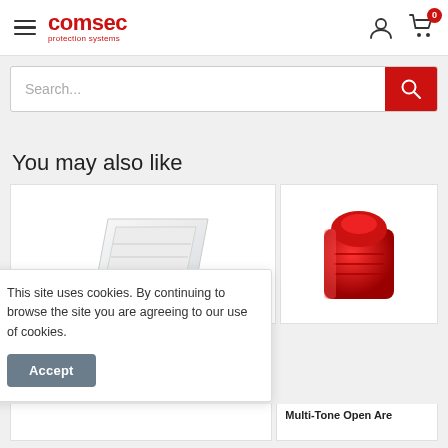Comsec protection systems
Search...
You may also like
[Figure (photo): Product card 1 - white panel/control unit device]
[Figure (photo): Product card 2 - red alarm sounder/siren device]
Multi-Tone Open Are
This site uses cookies. By continuing to browse the site you are agreeing to our use of cookies.
Accept